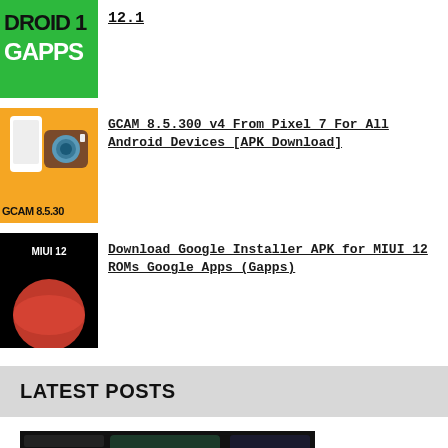[Figure (illustration): Green background thumbnail with text 'DROID 1' and 'GAPPS']
12.1
[Figure (illustration): Orange background thumbnail with phone, camera icon and text 'GCAM 8.5.30']
GCAM 8.5.300 v4 From Pixel 7 For All Android Devices [APK Download]
[Figure (illustration): Black background thumbnail with MIUI 12 text and planet image]
Download Google Installer APK for MIUI 12 ROMs Google Apps (Gapps)
LATEST POSTS
[Figure (screenshot): Dark dashboard/car interface screenshot]